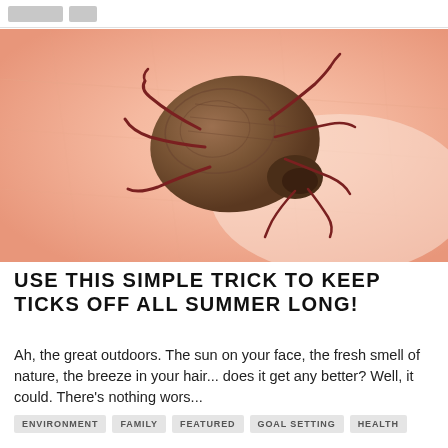[Figure (photo): Close-up macro photograph of a tick on human skin. The tick has a dark brown oval body with reddish-brown legs, shown embedded or crawling on pale peach skin with visible skin texture.]
USE THIS SIMPLE TRICK TO KEEP TICKS OFF ALL SUMMER LONG!
Ah, the great outdoors. The sun on your face, the fresh smell of nature, the breeze in your hair... does it get any better? Well, it could. There's nothing wors...
ENVIRONMENT
FAMILY
FEATURED
GOAL SETTING
HEALTH